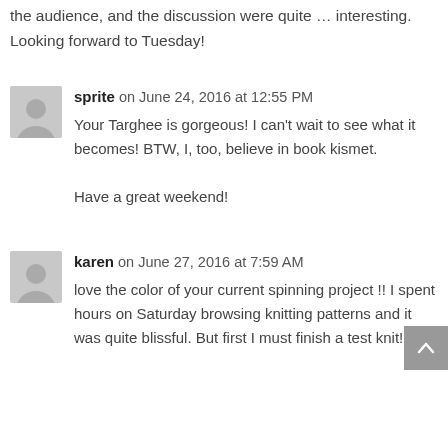the audience, and the discussion were quite … interesting. Looking forward to Tuesday!
sprite on June 24, 2016 at 12:55 PM
Your Targhee is gorgeous! I can't wait to see what it becomes! BTW, I, too, believe in book kismet.

Have a great weekend!
karen on June 27, 2016 at 7:59 AM
love the color of your current spinning project !! I spent hours on Saturday browsing knitting patterns and it was quite blissful. But first I must finish a test knit!!